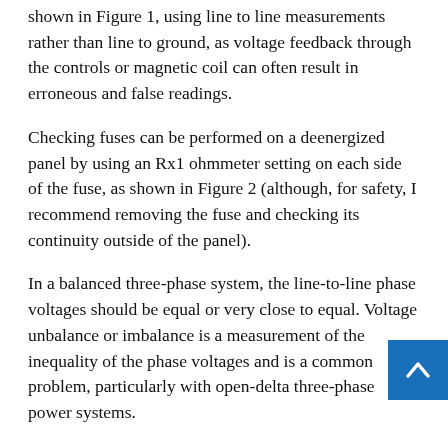shown in Figure 1, using line to line measurements rather than line to ground, as voltage feedback through the controls or magnetic coil can often result in erroneous and false readings.
Checking fuses can be performed on a deenergized panel by using an Rx1 ohmmeter setting on each side of the fuse, as shown in Figure 2 (although, for safety, I recommend removing the fuse and checking its continuity outside of the panel).
In a balanced three-phase system, the line-to-line phase voltages should be equal or very close to equal. Voltage unbalance or imbalance is a measurement of the inequality of the phase voltages and is a common problem, particularly with open-delta three-phase power systems.
Voltage imbalance is the measure of the voltage differences between the phases of a three-phase system. The process for calculating voltage imbalance was outlined in the Engineering Your Business column in the February 2022